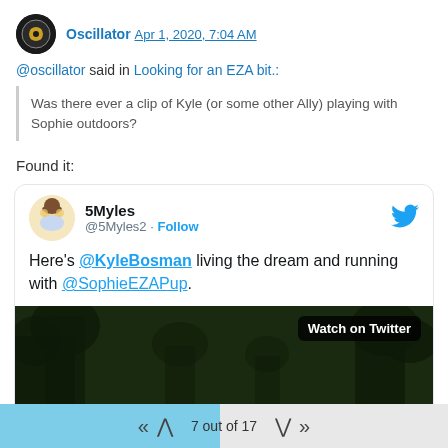Oscillator Apr 1, 2020, 7:04 AM
@oscillator said in Looking for an EZA bit.:
Was there ever a clip of Kyle (or some other Ally) playing with Sophie outdoors?
Found it:
[Figure (screenshot): Embedded tweet from @5Myles2 (5Myles) with Twitter bird icon and Follow button. Tweet text: "Here's @KyleBosman living the dream and running with @SophieEZAPup." Below the text is a video thumbnail showing dark trees/foliage with a 'Watch on Twitter' button overlay.]
7 out of 17